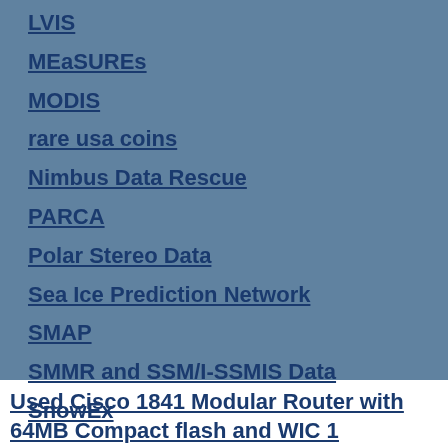LVIS
MEaSUREs
MODIS
rare usa coins
Nimbus Data Rescue
PARCA
Polar Stereo Data
Sea Ice Prediction Network
SMAP
SMMR and SSM/I-SSMIS Data
SnowEx
Used Cisco 1841 Modular Router with 64MB Compact flash and WIC 1